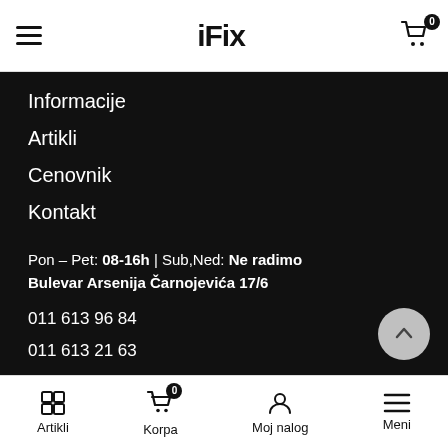iFix - navigation header with hamburger menu and cart icon (0 items)
Informacije
Artikli
Cenovnik
Kontakt
Pon – Pet: 08-16h | Sub,Ned: Ne radimo
Bulevar Arsenija Čarnojevića 17/6
011 613 96 84
011 613 21 63
061 155 69 63
065 464 85 08 (partially visible)
Artikli | Korpa (0) | Moj nalog | Meni